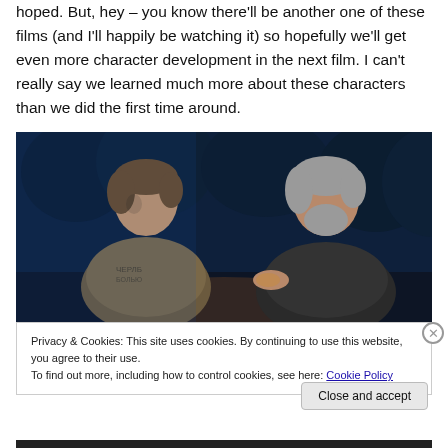hoped. But, hey – you know there'll be another one of these films (and I'll happily be watching it) so hopefully we'll get even more character development in the next film. I can't really say we learned much more about these characters than we did the first time around.
[Figure (photo): Two men in a dark, blue-lit forest setting. On the left, a younger man in a grey long-sleeve shirt; on the right, an older man with grey hair and beard wearing dark clothing, gesturing with his hand.]
Privacy & Cookies: This site uses cookies. By continuing to use this website, you agree to their use.
To find out more, including how to control cookies, see here: Cookie Policy
Close and accept